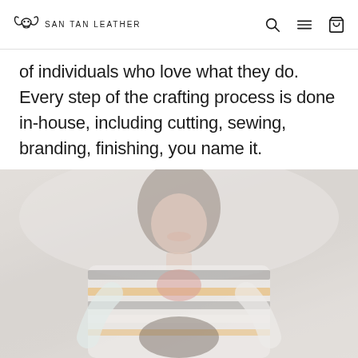SAN TAN LEATHER
of individuals who love what they do. Every step of the crafting process is done in-house, including cutting, sewing, branding, finishing, you name it.
[Figure (photo): A smiling woman with long dark hair wearing a striped cardigan (white, black, yellow/orange horizontal stripes), holding something dark, photographed outdoors with a soft light background.]